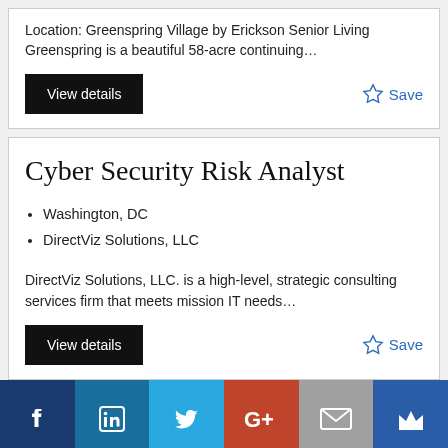Location: Greenspring Village by Erickson Senior Living Greenspring is a beautiful 58-acre continuing…
View details
Save
Cyber Security Risk Analyst
Washington, DC
DirectViz Solutions, LLC
DirectViz Solutions, LLC. is a high-level, strategic consulting services firm that meets mission IT needs…
View details
Save
[Figure (infographic): Social media share buttons: Facebook (dark blue), LinkedIn (blue), Twitter (light blue), Google+ (red), Email (grey), Crown/other (dark blue)]